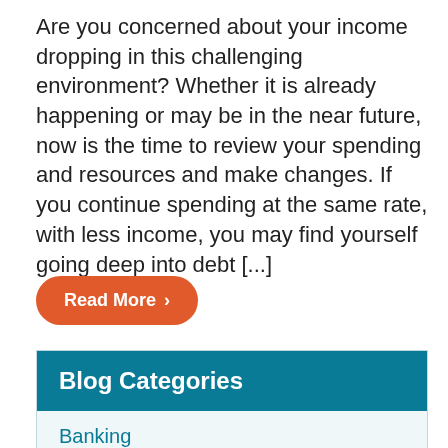Are you concerned about your income dropping in this challenging environment?  Whether it is already happening or may be in the near future, now is the time to review your spending and resources and make changes.  If you continue spending at the same rate, with less income, you may find yourself going deep into debt [...]
Read More >
Blog Categories
Banking
Credit